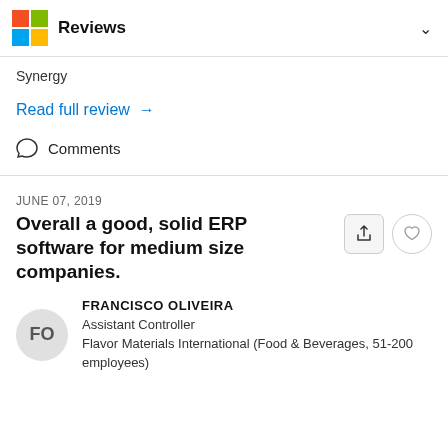Reviews
Synergy
Read full review →
Comments
JUNE 07, 2019
Overall a good, solid ERP software for medium size companies.
FRANCISCO OLIVEIRA
Assistant Controller
Flavor Materials International (Food & Beverages, 51-200 employees)